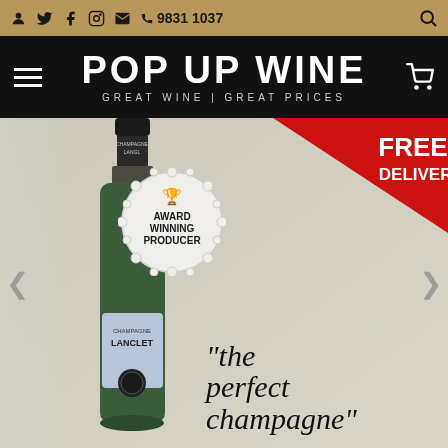Social icons, phone: 9831 1037, search icon
[Figure (logo): Pop Up Wine logo — white bold text 'POP UP WINE' with subtitle 'GREAT WINE | GREAT PRICES' on black background, hamburger menu left, cart icon right]
[Figure (photo): Website hero banner: champagne bottle (Champagne Lanclet, green bottle) on left with 'Award Winning Producer' medallion, red triangular 'FREE DELIVERY' badge top-right, and cursive quote 'the perfect champagne' on right side against light background]